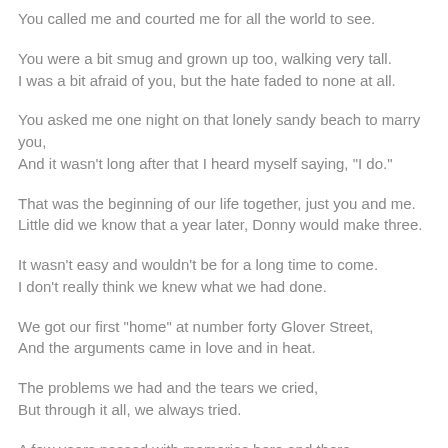You called me and courted me for all the world to see.
You were a bit smug and grown up too, walking very tall.
I was a bit afraid of you, but the hate faded to none at all.
You asked me one night on that lonely sandy beach to marry you,
And it wasn't long after that I heard myself saying, "I do."
That was the beginning of our life together, just you and me.
Little did we know that a year later, Donny would make three.
It wasn't easy and wouldn't be for a long time to come.
I don't really think we knew what we had done.
We got our first "home" at number forty Glover Street,
And the arguments came in love and in heat.
The problems we had and the tears we cried,
But through it all, we always tried.
A few years passed with memories here and there,